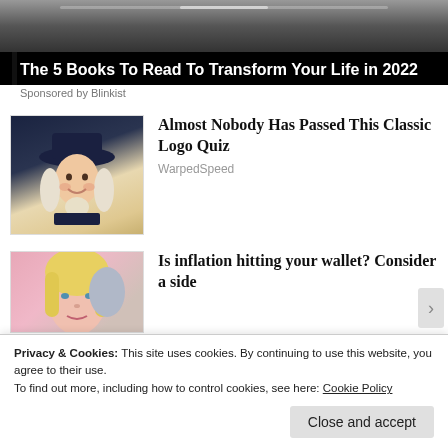[Figure (photo): Dark grayscale background image at top of page]
The 5 Books To Read To Transform Your Life in 2022
Sponsored by Blinkist
[Figure (illustration): Illustration of a man in colonial-era wig and hat (Quaker Oats style mascot)]
Almost Nobody Has Passed This Classic Logo Quiz
WarpedSpeed
[Figure (photo): Photo of a blonde woman]
Is inflation hitting your wallet? Consider a side
Privacy & Cookies: This site uses cookies. By continuing to use this website, you agree to their use.
To find out more, including how to control cookies, see here: Cookie Policy
Close and accept